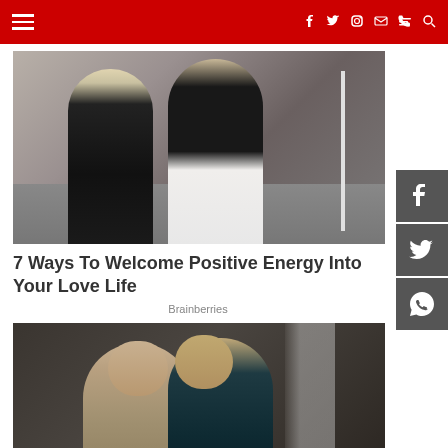Navigation bar with hamburger menu, social icons (f, twitter, instagram, email, rss), and search
[Figure (photo): Two people posing outdoors near a vehicle, one with blonde hair in black outfit, one in white pants]
7 Ways To Welcome Positive Energy Into Your Love Life
Brainberries
[Figure (photo): Two men laughing and embracing indoors, one in beige sweater, one in dark teal top]